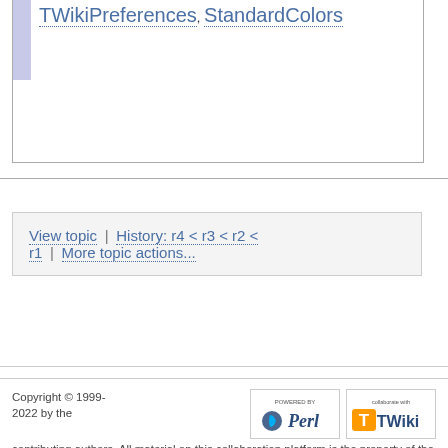TWikiPreferences, StandardColors
View topic | History: r4 < r3 < r2 < r1 | More topic actions...
Copyright © 1999-2022 by the contributing authors. All material on this collaboration platform is the property of the contributing authors. Ideas, requests, problems regarding TWiki? Send feedback Note: Please contribute updates to this topic on TWiki.org at TWiki:TWiki.VarBLACK.